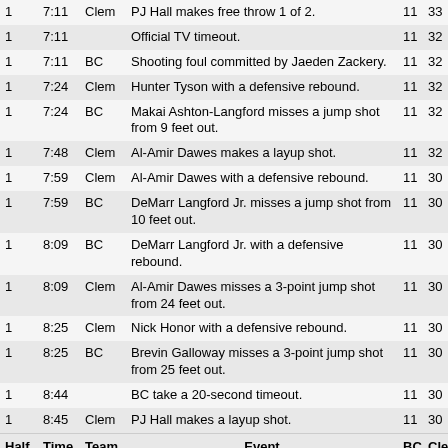| Half | Time | Team | Event | BC | Clem |
| --- | --- | --- | --- | --- | --- |
| 1 | 7:11 | Clem | PJ Hall makes free throw 1 of 2. | 11 | 33 |
| 1 | 7:11 |  | Official TV timeout. | 11 | 32 |
| 1 | 7:11 | BC | Shooting foul committed by Jaeden Zackery. | 11 | 32 |
| 1 | 7:24 | Clem | Hunter Tyson with a defensive rebound. | 11 | 32 |
| 1 | 7:24 | BC | Makai Ashton-Langford misses a jump shot from 9 feet out. | 11 | 32 |
| 1 | 7:48 | Clem | Al-Amir Dawes makes a layup shot. | 11 | 32 |
| 1 | 7:59 | Clem | Al-Amir Dawes with a defensive rebound. | 11 | 30 |
| 1 | 7:59 | BC | DeMarr Langford Jr. misses a jump shot from 10 feet out. | 11 | 30 |
| 1 | 8:09 | BC | DeMarr Langford Jr. with a defensive rebound. | 11 | 30 |
| 1 | 8:09 | Clem | Al-Amir Dawes misses a 3-point jump shot from 24 feet out. | 11 | 30 |
| 1 | 8:25 | Clem | Nick Honor with a defensive rebound. | 11 | 30 |
| 1 | 8:25 | BC | Brevin Galloway misses a 3-point jump shot from 25 feet out. | 11 | 30 |
| 1 | 8:44 |  | BC take a 20-second timeout. | 11 | 30 |
| 1 | 8:45 | Clem | PJ Hall makes a layup shot. | 11 | 30 |